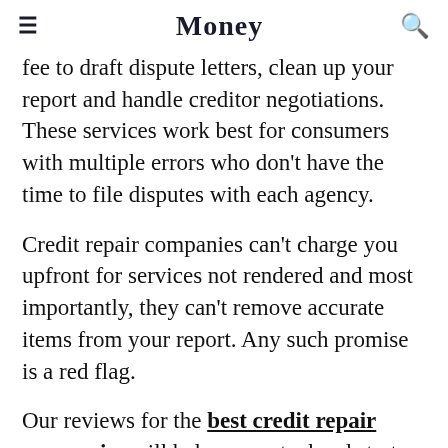Money
fee to draft dispute letters, clean up your report and handle creditor negotiations. These services work best for consumers with multiple errors who don't have the time to file disputes with each agency.
Credit repair companies can't charge you upfront for services not rendered and most importantly, they can't remove accurate items from your report. Any such promise is a red flag.
Our reviews for the best credit repair companies will help you get a head start, but before